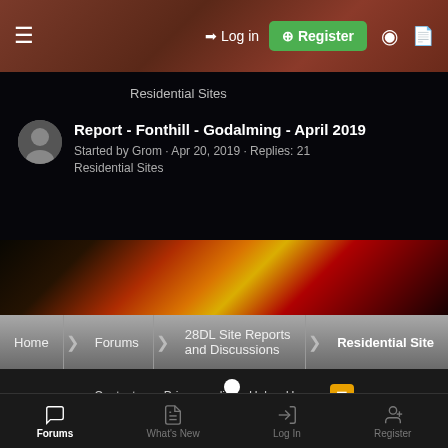Log in | Register
Residential Sites
Report - Fonthill - Godalming - April 2019
Started by Grom · Apr 20, 2019 · Replies: 21
Residential Sites
Home > Forums > 28DL Site Reports and Discussions > Residential Sites
Contact us   Privacy policy   Help   Home
Forum software by XenForo® © 2010-2019 XenForo Ltd.
Thread Thumbnail by AddonsLab
// XenForo theme by xenfocus
Forums   What's New   Log In   Register